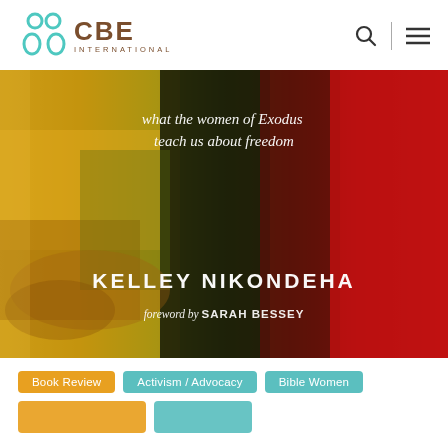CBE INTERNATIONAL
[Figure (photo): Book cover of 'Defiant: What the Women of Exodus Teach Us About Freedom' by Kelley Nikondeha, foreword by Sarah Bessey. The cover features a painting with bold colors — yellow/gold, dark green/black, and red — depicting abstract figures. White text shows the subtitle and author name.]
Book Review
Activism / Advocacy
Bible Women